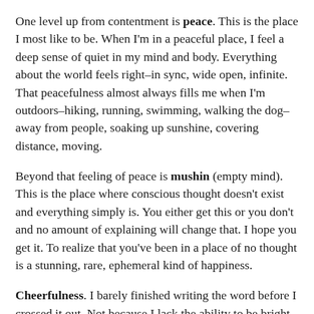One level up from contentment is peace. This is the place I most like to be. When I'm in a peaceful place, I feel a deep sense of quiet in my mind and body. Everything about the world feels right–in sync, wide open, infinite. That peacefulness almost always fills me when I'm outdoors–hiking, running, swimming, walking the dog–away from people, soaking up sunshine, covering distance, moving.
Beyond that feeling of peace is mushin (empty mind). This is the place where conscious thought doesn't exist and everything simply is. You either get this or you don't and no amount of explaining will change that. I hope you get it. To realize that you've been in a place of no thought is a stunning, rare, ephemeral kind of happiness.
Cheerfulness. I barely finished writing the word before I crossed it out. Not because I lack the ability to be bright and cheerful but because I so often seem to be cheerful at the